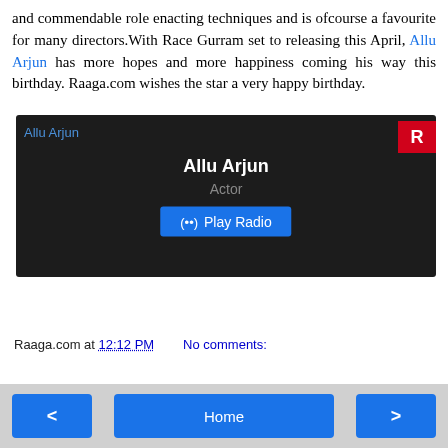and commendable role enacting techniques and is ofcourse a favourite for many directors.With Race Gurram set to releasing this April, Allu Arjun has more hopes and more happiness coming his way this birthday. Raaga.com wishes the star a very happy birthday.
[Figure (screenshot): Raaga.com media widget showing Allu Arjun with Actor label and Play Radio button on dark background]
Raaga.com at 12:12 PM    No comments:
< Home >